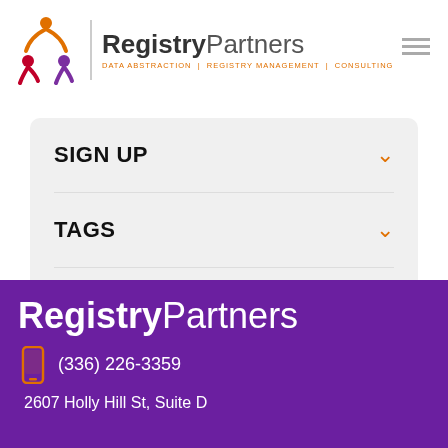[Figure (logo): RegistryPartners logo with colorful figure icon and tagline: DATA ABSTRACTION | REGISTRY MANAGEMENT | CONSULTING]
SIGN UP
TAGS
ARCHIVE
[Figure (logo): RegistryPartners footer logo in white on purple background]
(336) 226-3359
2607 Holly Hill St, Suite D